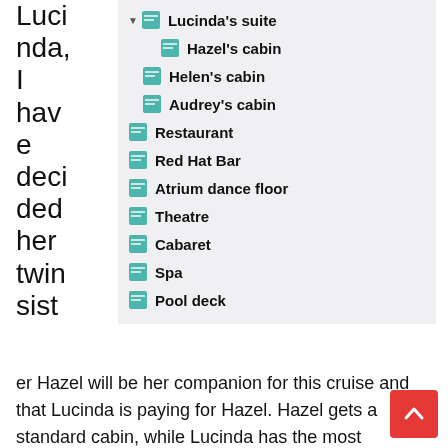Lucinda, I have decided her twin sister Hazel will be her companion for this cruise and that Lucinda is paying for Hazel. Hazel gets a standard cabin, while Lucinda has the most luxurious: a grade AA suite.
[Figure (screenshot): Tree/list UI panel showing cabin/room hierarchy: Lucinda's suite (expanded, with Hazel's cabin, Helen's cabin, Audrey's cabin as sub-items), Restaurant, Red Hat Bar, Atrium dance floor, Theatre, Cabaret, Spa, Pool deck]
Audrey is on a par financially with Lucinda, having inherited a fortune from her Aunt Gladys, and she opts for the same: grade AA.